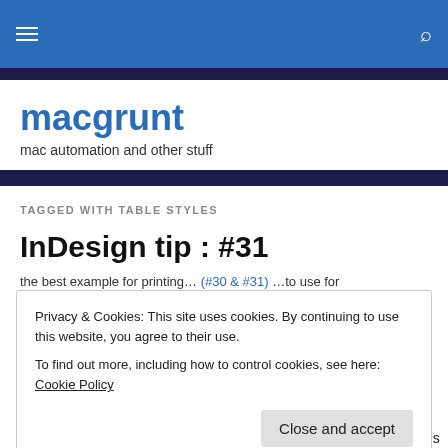macgrunt – mac automation and other stuff
TAGGED WITH TABLE STYLES
InDesign tip : #31
Privacy & Cookies: This site uses cookies. By continuing to use this website, you agree to their use. To find out more, including how to control cookies, see here: Cookie Policy
use particular formatting settings more than once in a document, it's